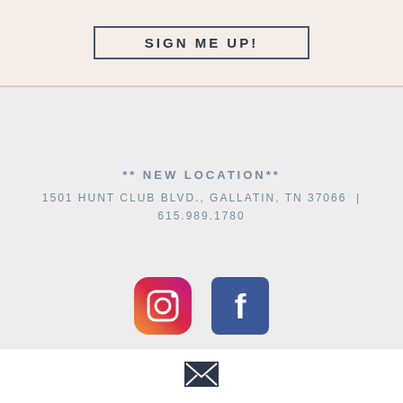SIGN ME UP!
** NEW LOCATION**
1501 HUNT CLUB BLVD., GALLATIN, TN 37066  |  615.989.1780
[Figure (logo): Instagram and Facebook social media icons side by side]
Privacy Policy
[Figure (other): Scroll to top arrow button circle]
[Figure (other): Email envelope icon in dark square]